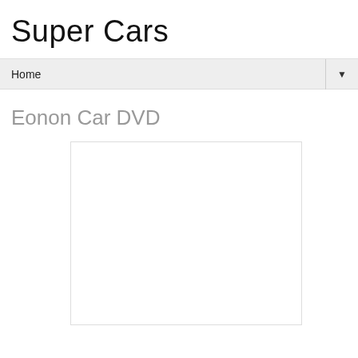Super Cars
Home
Eonon Car DVD
[Figure (other): Empty white image placeholder with light border]